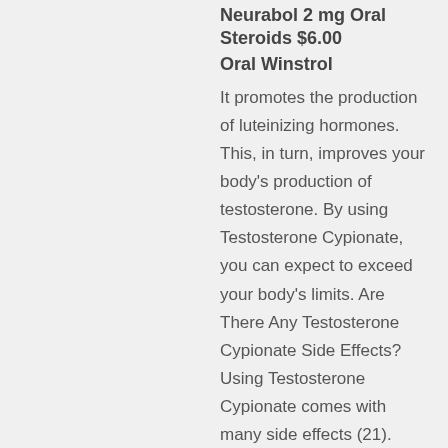Neurabol 2 mg Oral Steroids $6.00 Oral Winstrol
It promotes the production of luteinizing hormones. This, in turn, improves your body's production of testosterone. By using Testosterone Cypionate, you can expect to exceed your body's limits. Are There Any Testosterone Cypionate Side Effects? Using Testosterone Cypionate comes with many side effects (21). These include gynecomastia or male breasts, acne, water retention in muscles, limited testosterone production, hair loss, high blood pressure, prostate enlargement, increased aggressiveness…